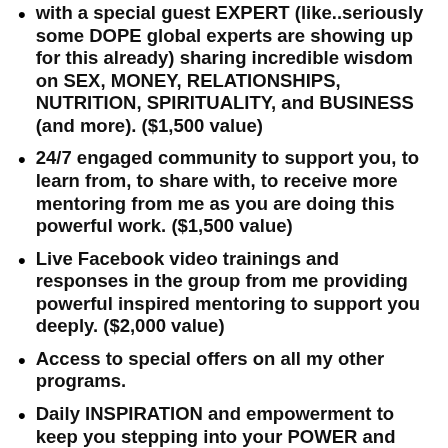with a special guest EXPERT (like..seriously some DOPE global experts are showing up for this already) sharing incredible wisdom on SEX, MONEY, RELATIONSHIPS, NUTRITION, SPIRITUALITY, and BUSINESS (and more). ($1,500 value)
24/7 engaged community to support you, to learn from, to share with, to receive more mentoring from me as you are doing this powerful work. ($1,500 value)
Live Facebook video trainings and responses in the group from me providing powerful inspired mentoring to support you deeply. ($2,000 value)
Access to special offers on all my other programs.
Daily INSPIRATION and empowerment to keep you stepping into your POWER and holding you in your highest to BE who you CAME HERE TO BE, to put yourself FIRST and start living your most inspired,